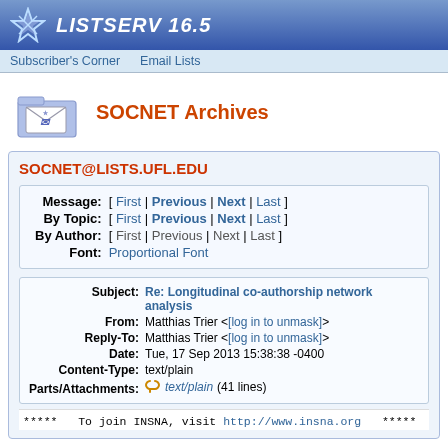LISTSERV 16.5
Subscriber's Corner  Email Lists
SOCNET Archives
SOCNET@LISTS.UFL.EDU
| Label | Navigation |
| --- | --- |
| Message: | [ First | Previous | Next | Last ] |
| By Topic: | [ First | Previous | Next | Last ] |
| By Author: | [ First | Previous | Next | Last ] |
| Font: | Proportional Font |
| Field | Value |
| --- | --- |
| Subject: | Re: Longitudinal co-authorship network analysis |
| From: | Matthias Trier <[log in to unmask]> |
| Reply-To: | Matthias Trier <[log in to unmask]> |
| Date: | Tue, 17 Sep 2013 15:38:38 -0400 |
| Content-Type: | text/plain |
| Parts/Attachments: | text/plain (41 lines) |
***** To join INSNA, visit http://www.insna.org *****